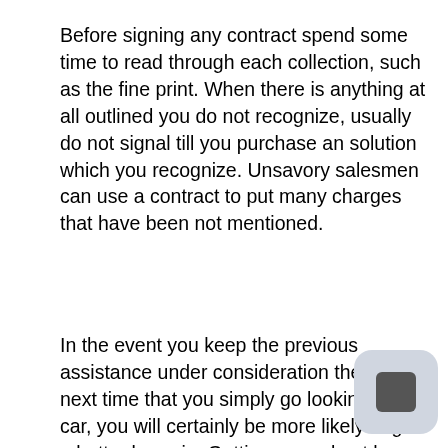Before signing any contract spend some time to read through each collection, such as the fine print. When there is anything at all outlined you do not recognize, usually do not signal till you purchase an solution which you recognize. Unsavory salesmen can use a contract to put many charges that have been not mentioned.
In the event you keep the previous assistance under consideration the very next time that you simply go looking for a car, you will certainly be more likely to get a better bargain. Getting a car d not have as a frustration. Simply use guidelines with this post and you may, obtain the automobile you want in a